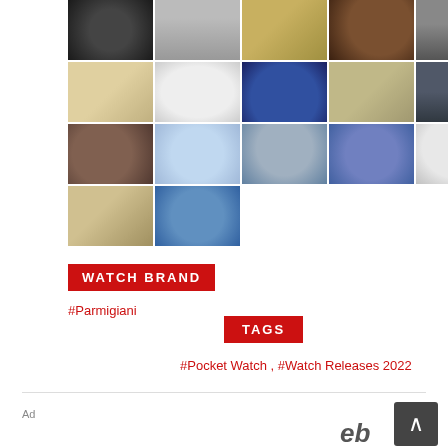[Figure (photo): Grid of 17 watch-making process photos showing craftspeople working on enamel dials and watch components]
WATCH BRAND
#Parmigiani
TAGS
#Pocket Watch , #Watch Releases 2022
Ad
[Figure (logo): eBay logo partial]